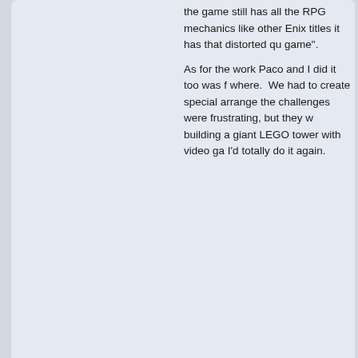the game still has all the RPG mechanics... like other Enix titles it has that distorted q... game".
As for the work Paco and I did it too was f... where. We had to create special arrange... the challenges were frustrating, but they w... building a giant LEGO tower with video ga... I'd totally do it again.
Pages: [1]   Go Up
VGMaps » General Boards » Maps Of The Month » Topic: 2015/01: Mystic Ark (J) (Supe...
SMF 2.0.19 | SMF © 2021, Simple M... XHTML  RSS  WAP2